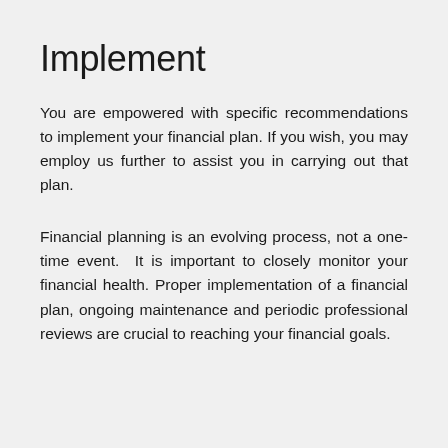Implement
You are empowered with specific recommendations to implement your financial plan. If you wish, you may employ us further to assist you in carrying out that plan.
Financial planning is an evolving process, not a one-time event.  It is important to closely monitor your financial health. Proper implementation of a financial plan, ongoing maintenance and periodic professional reviews are crucial to reaching your financial goals.